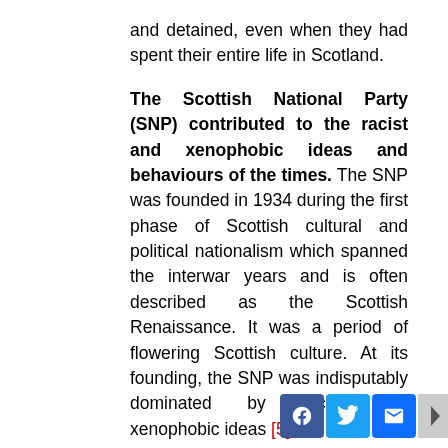and detained, even when they had spent their entire life in Scotland.
The Scottish National Party (SNP) contributed to the racist and xenophobic ideas and behaviours of the times. The SNP was founded in 1934 during the first phase of Scottish cultural and political nationalism which spanned the interwar years and is often described as the Scottish Renaissance. It was a period of flowering Scottish culture. At its founding, the SNP was indisputably dominated by racist and xenophobic ideas [5].
The leading figures of the SNP at the